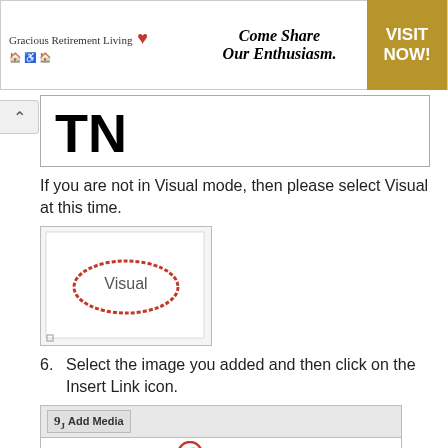[Figure (screenshot): Advertisement banner for Gracious Retirement Living with tagline 'Come Share Our Enthusiasm.' and gold 'VISIT NOW!' call-to-action button]
[Figure (screenshot): Large bold letters 'TN' in a bordered box]
If you are not in Visual mode, then please select Visual at this time.
[Figure (screenshot): Screenshot of a WordPress editor tab showing 'Visual' button circled in red]
6. Select the image you added and then click on the Insert Link icon.
[Figure (screenshot): Screenshot of WordPress editor toolbar with Add Media button visible and the Insert Link (chain link) icon circled in red, plus a partial view of a text row below]